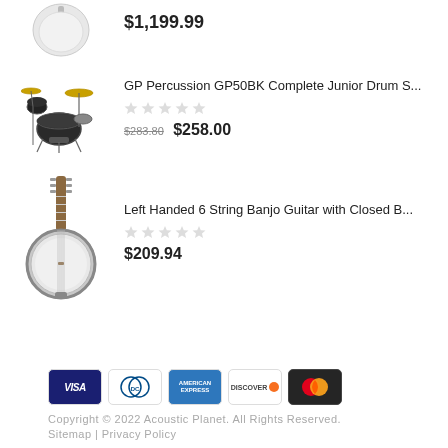[Figure (photo): Product image of a white guitar/instrument, partially visible at top]
$1,199.99
[Figure (photo): GP Percussion drum set product image - black drum kit with cymbals]
GP Percussion GP50BK Complete Junior Drum S...
$283.80  $258.00
[Figure (photo): Left Handed 6 String Banjo Guitar with Closed Back]
Left Handed 6 String Banjo Guitar with Closed B...
$209.94
[Figure (other): Payment method icons: VISA, Diners Club, American Express, Discover, Mastercard]
Copyright © 2022 Acoustic Planet. All Rights Reserved.
Sitemap | Privacy Policy